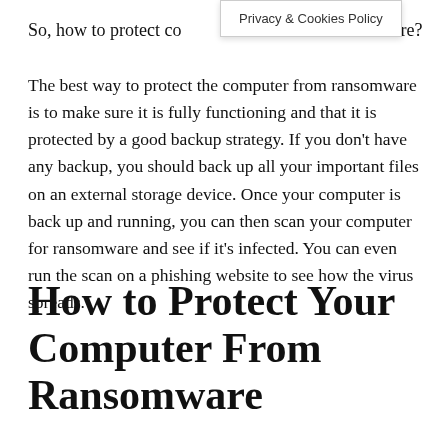So, how to protect co…ware?
Privacy & Cookies Policy
The best way to protect the computer from ransomware is to make sure it is fully functioning and that it is protected by a good backup strategy. If you don't have any backup, you should back up all your important files on an external storage device. Once your computer is back up and running, you can then scan your computer for ransomware and see if it's infected. You can even run the scan on a phishing website to see how the virus spreads.
How to Protect Your Computer From Ransomware